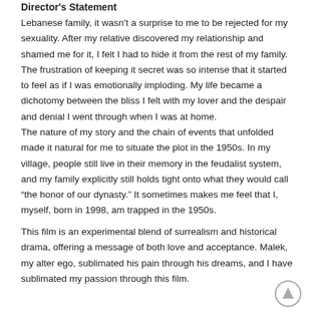Director's Statement
Lebanese family, it wasn't a surprise to me to be rejected for my sexuality. After my relative discovered my relationship and shamed me for it, I felt I had to hide it from the rest of my family. The frustration of keeping it secret was so intense that it started to feel as if I was emotionally imploding. My life became a dichotomy between the bliss I felt with my lover and the despair and denial I went through when I was at home.
The nature of my story and the chain of events that unfolded made it natural for me to situate the plot in the 1950s. In my village, people still live in their memory in the feudalist system, and my family explicitly still holds tight onto what they would call “the honor of our dynasty.” It sometimes makes me feel that I, myself, born in 1998, am trapped in the 1950s.
This film is an experimental blend of surrealism and historical drama, offering a message of both love and acceptance. Malek, my alter ego, sublimated his pain through his dreams, and I have sublimated my passion through this film.